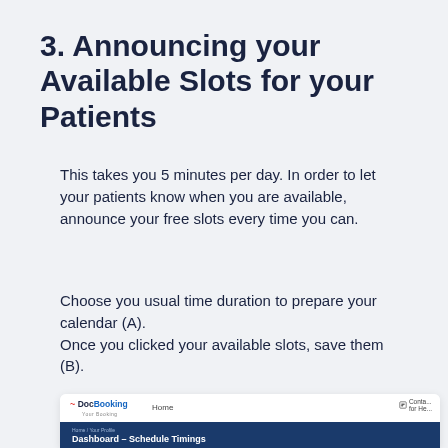3. Announcing your Available Slots for your Patients
This takes you 5 minutes per day. In order to let your patients know when you are available, announce your free slots every time you can.
Choose you usual time duration to prepare your calendar (A).
Once you clicked your available slots, save them (B).
[Figure (screenshot): Screenshot of DocBooking website showing navigation bar with Home link and contact icon, and a blue header bar reading 'Dashboard – Schedule Timings' with breadcrumb 'Home / Your Profile', and beginning of schedule timings content area below.]